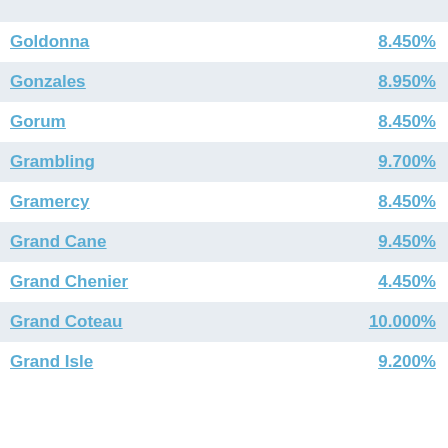Goldonna 8.450%
Gonzales 8.950%
Gorum 8.450%
Grambling 9.700%
Gramercy 8.450%
Grand Cane 9.450%
Grand Chenier 4.450%
Grand Coteau 10.000%
Grand Isle 9.200%